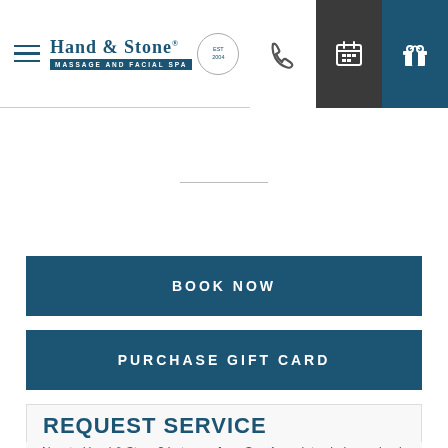Hand & Stone Massage and Facial Spa — Navigation header with logo, phone, calendar, and gift card icons
BOOK NOW
PURCHASE GIFT CARD
REQUEST SERVICE
New to Hand & Stone? Let one of our Spa Associates help you book your massage or facial